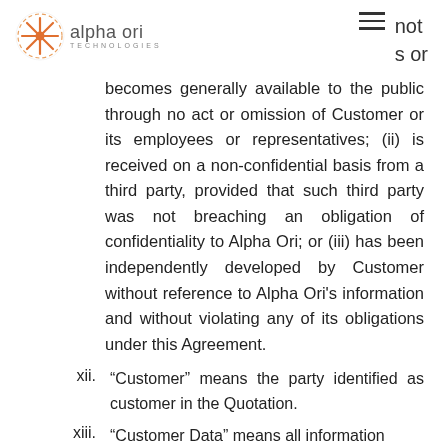alpha ori TECHNOLOGIES | not s or
becomes generally available to the public through no act or omission of Customer or its employees or representatives; (ii) is received on a non-confidential basis from a third party, provided that such third party was not breaching an obligation of confidentiality to Alpha Ori; or (iii) has been independently developed by Customer without reference to Alpha Ori's information and without violating any of its obligations under this Agreement.
xii. “Customer” means the party identified as customer in the Quotation.
xiii. “Customer Data” means all information